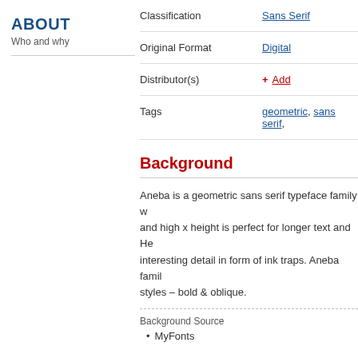ABOUT
Who and why
| Field | Value |
| --- | --- |
| Classification | Sans Serif |
| Original Format | Digital |
| Distributor(s) | + Add |
| Tags | geometric, sans serif, |
Background
Aneba is a geometric sans serif typeface family w... and high x height is perfect for longer text and He... interesting detail in form of ink traps. Aneba family styles – bold & oblique.
Background Source
MyFonts